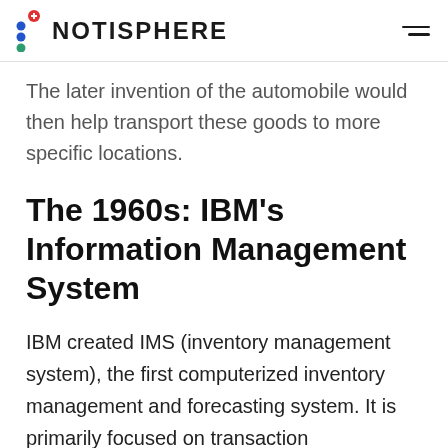NOTISPHERE
The later invention of the automobile would then help transport these goods to more specific locations.
The 1960s: IBM’s Information Management System
IBM created IMS (inventory management system), the first computerized inventory management and forecasting system. It is primarily focused on transaction management, thus helping various organizations in conducting inventory management.